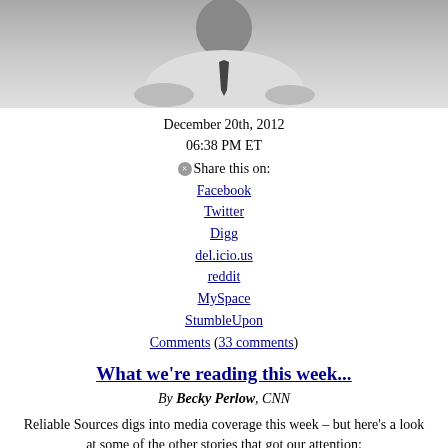[Figure (photo): Black and white photograph of a person, partially visible, wearing a white shirt or jacket with a dark tie, cropped at the top of the page.]
December 20th, 2012
06:38 PM ET
Share this on:
Facebook
Twitter
Digg
del.icio.us
reddit
MySpace
StumbleUpon
Comments (33 comments)
What we're reading this week...
By Becky Perlow, CNN
Reliable Sources digs into media coverage this week – but here's a look at some of the other stories that got our attention:
Look for the helpers: It's been almost a decade since Mr. Rogers left the neighborhood behind, but his words ring truer than ever.